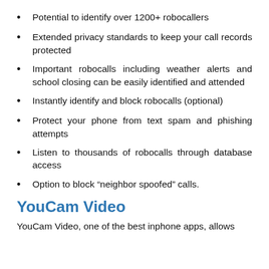Potential to identify over 1200+ robocallers
Extended privacy standards to keep your call records protected
Important robocalls including weather alerts and school closing can be easily identified and attended
Instantly identify and block robocalls (optional)
Protect your phone from text spam and phishing attempts
Listen to thousands of robocalls through database access
Option to block “neighbor spoofed” calls.
YouCam Video
YouCam Video, one of the best inphone apps, allows